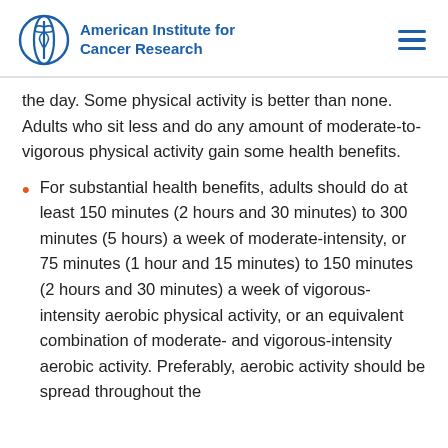American Institute for Cancer Research
the day. Some physical activity is better than none. Adults who sit less and do any amount of moderate-to-vigorous physical activity gain some health benefits.
For substantial health benefits, adults should do at least 150 minutes (2 hours and 30 minutes) to 300 minutes (5 hours) a week of moderate-intensity, or 75 minutes (1 hour and 15 minutes) to 150 minutes (2 hours and 30 minutes) a week of vigorous-intensity aerobic physical activity, or an equivalent combination of moderate- and vigorous-intensity aerobic activity. Preferably, aerobic activity should be spread throughout the